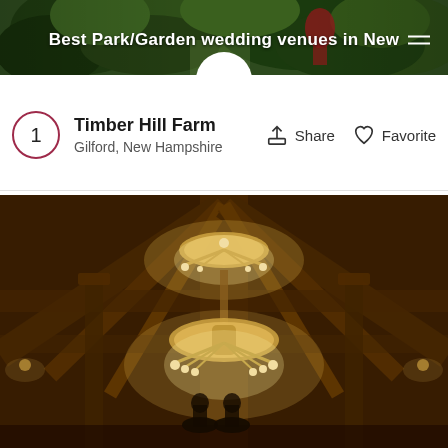Best Park/Garden wedding venues in New
[Figure (photo): Top banner photo showing an outdoor park/garden wedding venue with greenery and a person in background, partially obscured]
Timber Hill Farm
Gilford, New Hampshire
Share
Favorite
[Figure (photo): Interior photo of Timber Hill Farm barn venue showing rustic wooden beamed ceiling with crystal chandeliers hanging, warm amber lighting]